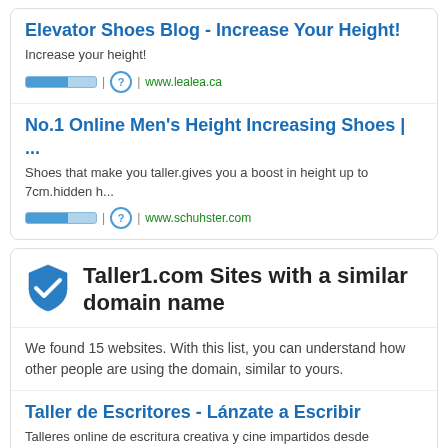Elevator Shoes Blog - Increase Your Height!
Increase your height!
| ? | www.lealea.ca
No.1 Online Men's Height Increasing Shoes | ...
Shoes that make you taller.gives you a boost in height up to 7cm.hidden h...
| ? | www.schuhster.com
Taller1.com Sites with a similar domain name
We found 15 websites. With this list, you can understand how other people are using the domain, similar to yours.
Taller de Escritores - Lánzate a Escribir
Talleres online de escritura creativa y cine impartidos desde barcelona. Se...
| ? | tallerdeescritores.com
Ciudades Más Humanas